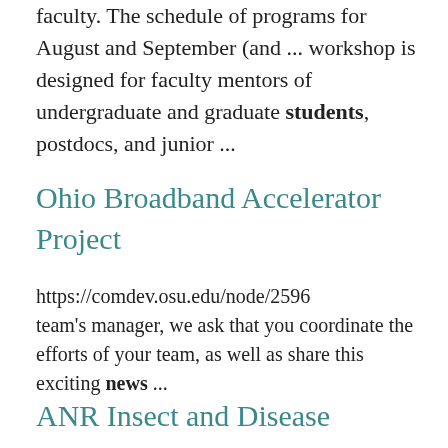faculty. The schedule of programs for August and September (and ... workshop is designed for faculty mentors of undergraduate and graduate students, postdocs, and junior ...
Ohio Broadband Accelerator Project
https://comdev.osu.edu/node/2596 team's manager, we ask that you coordinate the efforts of your team, as well as share this exciting news ...
ANR Insect and Disease Summer